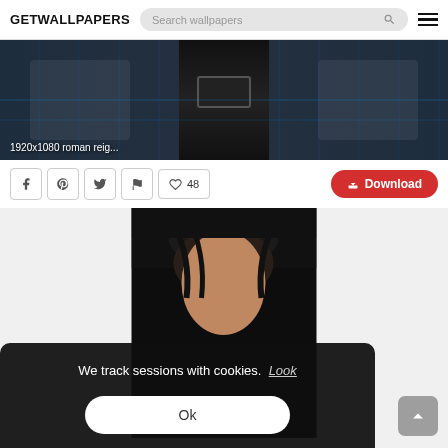GETWALLPAPERS | Search wallpapers
[Figure (screenshot): Banner image of wrestling scene (Roman Reigns) labeled '1920x1080 roman reig...']
1920x1080 roman reig...
[Figure (screenshot): Social share buttons (Facebook, Pinterest, Twitter, Flag), like button with count 48, and red Download button]
[Figure (photo): Photo of Roman Reigns (wrestler), dark background, face close-up]
We track sessions with cookies. Look
Ok